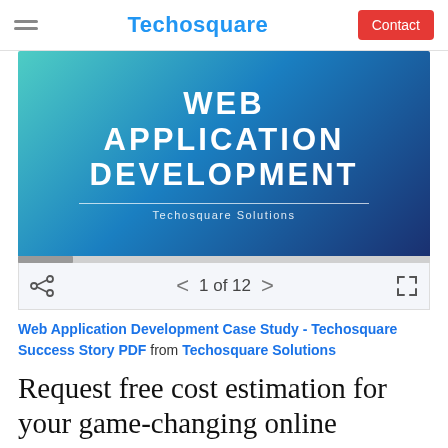Techosquare | Contact
[Figure (screenshot): Slide deck page showing 'WEB APPLICATION DEVELOPMENT' in white text on a blue-to-teal gradient background, with 'Techosquare Solutions' subtitle below a horizontal divider line. Below the slide is a nav bar showing '1 of 12' with share and fullscreen icons.]
Web Application Development Case Study - Techosquare Success Story PDF from Techosquare Solutions
Request free cost estimation for your game-changing online